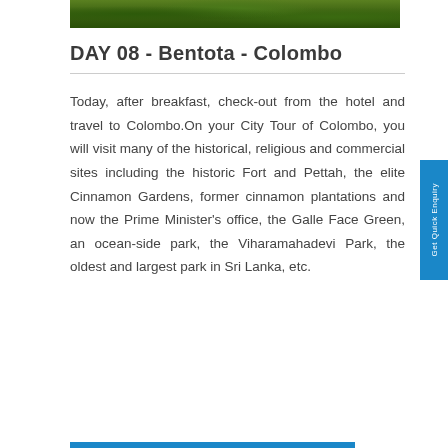[Figure (photo): A strip of green tree canopy / forest path photograph at the top of the page]
DAY 08 - Bentota - Colombo
Today, after breakfast, check-out from the hotel and travel to Colombo.On your City Tour of Colombo, you will visit many of the historical, religious and commercial sites including the historic Fort and Pettah, the elite Cinnamon Gardens, former cinnamon plantations and now the Prime Minister's office, the Galle Face Green, an ocean-side park, the Viharamahadevi Park, the oldest and largest park in Sri Lanka, etc.